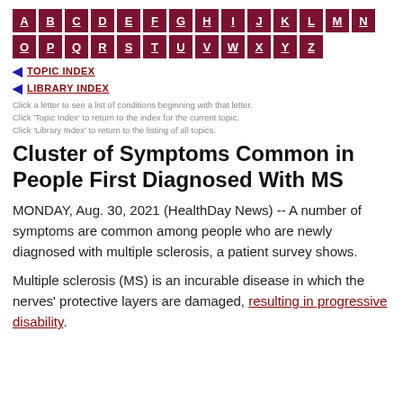[Figure (other): Alphabetical navigation bar with dark red/maroon letter tiles A through Z]
TOPIC INDEX
LIBRARY INDEX
Click a letter to see a list of conditions beginning with that letter. Click 'Topic Index' to return to the index for the current topic. Click 'Library Index' to return to the listing of all topics.
Cluster of Symptoms Common in People First Diagnosed With MS
MONDAY, Aug. 30, 2021 (HealthDay News) -- A number of symptoms are common among people who are newly diagnosed with multiple sclerosis, a patient survey shows.
Multiple sclerosis (MS) is an incurable disease in which the nerves' protective layers are damaged, resulting in progressive disability.